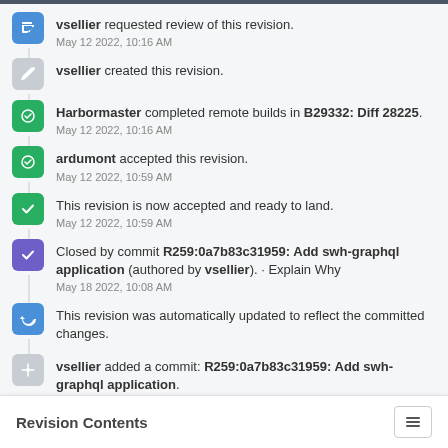vsellier requested review of this revision.
May 12 2022, 10:16 AM
vsellier created this revision.
Harbormaster completed remote builds in B29332: Diff 28225.
May 12 2022, 10:16 AM
ardumont accepted this revision.
May 12 2022, 10:59 AM
This revision is now accepted and ready to land.
May 12 2022, 10:59 AM
Closed by commit R259:0a7b83c31959: Add swh-graphql application (authored by vsellier). · Explain Why
May 18 2022, 10:08 AM
This revision was automatically updated to reflect the committed changes.
vsellier added a commit: R259:0a7b83c31959: Add swh-graphql application.
Revision Contents